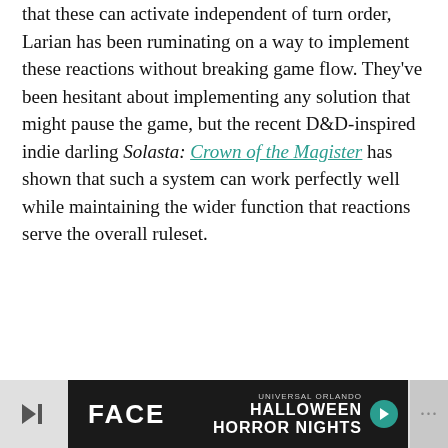that these can activate independent of turn order, Larian has been ruminating on a way to implement these reactions without breaking game flow. They've been hesitant about implementing any solution that might pause the game, but the recent D&D-inspired indie darling Solasta: Crown of the Magister has shown that such a system can work perfectly well while maintaining the wider function that reactions serve the overall ruleset.
[Figure (other): Advertisement banner for Universal Orlando Halloween Horror Nights. Black background with 'FACE' in large bold white text on left, and 'Universal Orlando HALLOWEEN HORROR NIGHTS' text with an arrow on the right. Navigation arrows and dots on sides.]